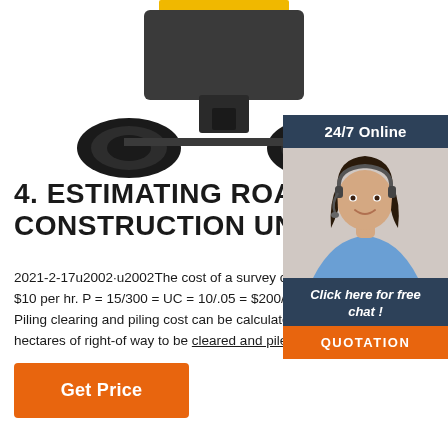[Figure (photo): Bottom portion of a yellow and dark gray construction vehicle/equipment showing wheels and undercarriage, partially cropped at top]
4. ESTIMATING ROAD CONSTRUCTION UNIT COS
2021-2-17u2002·u2002The cost of a survey cr including transport is $10 per hr. P = 15/300 = UC = 10/.05 = $200/km 4.3 Clearing and Piling clearing and piling cost can be calculated by e the number of hectares of right-of way to be cleared and piled per kilometer of road.
[Figure (photo): 24/7 Online support panel with photo of female customer service representative wearing headset, smiling]
Get Price